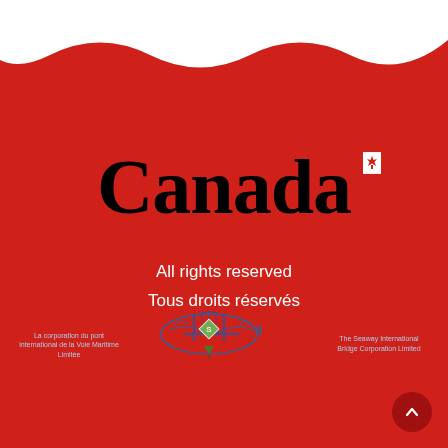[Figure (illustration): White wavy shape at top of red background page]
[Figure (logo): Canada wordmark with maple leaf flag icon — large black serif 'Canada' text with small Canadian flag at top right of the word]
All rights reserved
Tous droits réservés
[Figure (logo): Seaway International Bridge Corporation logo — circular emblem with bridge and fish imagery, diamond shape in center with letter S, and tree below. Left text: 'La corporation du pont international de la Voie Maritime Limitée'. Right text: 'The Seaway International Bridge Corporation Limited']